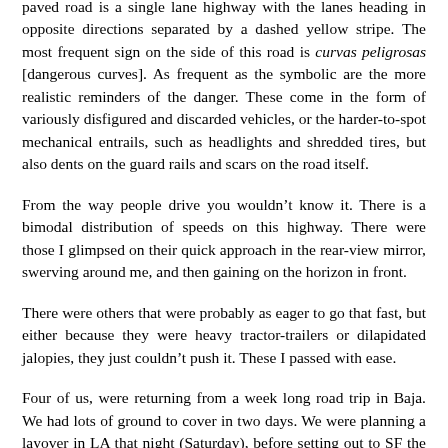paved road is a single lane highway with the lanes heading in opposite directions separated by a dashed yellow stripe. The most frequent sign on the side of this road is curvas peligrosas [dangerous curves]. As frequent as the symbolic are the more realistic reminders of the danger. These come in the form of variously disfigured and discarded vehicles, or the harder-to-spot mechanical entrails, such as headlights and shredded tires, but also dents on the guard rails and scars on the road itself.
From the way people drive you wouldn’t know it. There is a bimodal distribution of speeds on this highway. There were those I glimpsed on their quick approach in the rear-view mirror, swerving around me, and then gaining on the horizon in front.
There were others that were probably as eager to go that fast, but either because they were heavy tractor-trailers or dilapidated jalopies, they just couldn’t push it. These I passed with ease.
Four of us, were returning from a week long road trip in Baja. We had lots of ground to cover in two days. We were planning a layover in LA that night (Saturday), before setting out to SF the following morning. (Sunday) My friend had just completed a 6 hour marathon driving session, and handed over the controls to me in San Quentin, still 200 miles south of the border (Tijuana).
When I started the starlit ascent into the mountains past the valley,